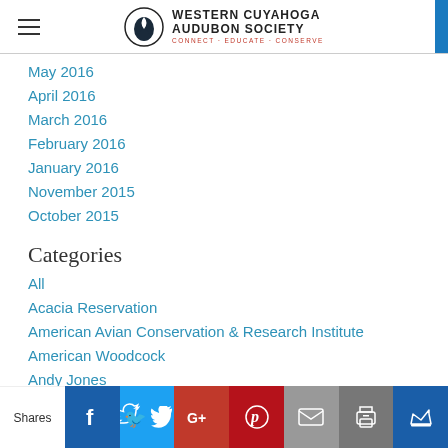Western Cuyahoga Audubon Society — Connect · Educate · Conserve
May 2016
April 2016
March 2016
February 2016
January 2016
November 2015
October 2015
Categories
All
Acacia Reservation
American Avian Conservation & Research Institute
American Woodcock
Andy Jones
Annual Gift
Shares | Facebook | Twitter | Google+ | Pinterest | Email | Print | Kingsumo